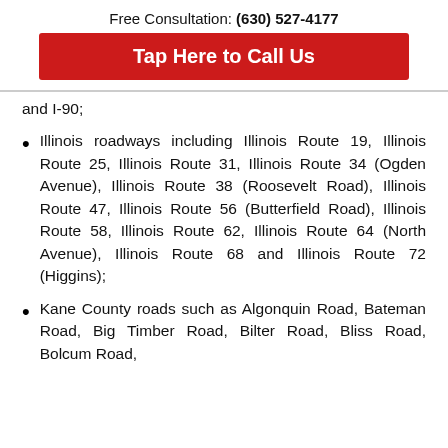Free Consultation: (630) 527-4177
Tap Here to Call Us
and I-90;
Illinois roadways including Illinois Route 19, Illinois Route 25, Illinois Route 31, Illinois Route 34 (Ogden Avenue), Illinois Route 38 (Roosevelt Road), Illinois Route 47, Illinois Route 56 (Butterfield Road), Illinois Route 58, Illinois Route 62, Illinois Route 64 (North Avenue), Illinois Route 68 and Illinois Route 72 (Higgins);
Kane County roads such as Algonquin Road, Bateman Road, Big Timber Road, Bilter Road, Bliss Road, Bolcum Road,